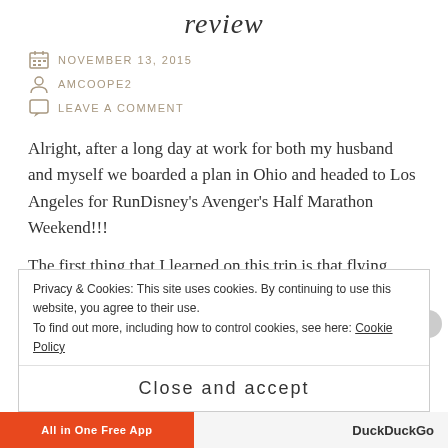review
NOVEMBER 13, 2015
AMCOOPE2
LEAVE A COMMENT
Alright, after a long day at work for both my husband and myself we boarded a plan in Ohio and headed to Los Angeles for RunDisney's Avenger's Half Marathon Weekend!!!
The first thing that I learned on this trip is that flying after work is exhausting, especially when it is a 7 + hours in
Privacy & Cookies: This site uses cookies. By continuing to use this website, you agree to their use.
To find out more, including how to control cookies, see here: Cookie Policy
Close and accept
All in One Free App
DuckDuckGo